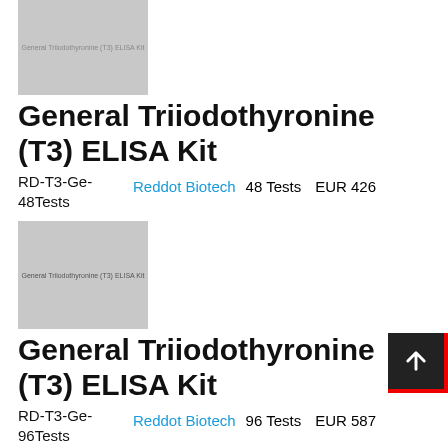[Figure (photo): Product image placeholder for General Triiodothyronine (T3) ELISA Kit, 48 Tests]
General Triiodothyronine (T3) ELISA Kit
RD-T3-Ge-48Tests    Reddot Biotech   48 Tests   EUR 426
[Figure (photo): Product image placeholder for General Triiodothyronine (T3) ELISA Kit, 96 Tests]
General Triiodothyronine (T3) ELISA Kit
RD-T3-Ge-96Tests    Reddot Biotech   96 Tests   EUR 587
[Figure (photo): Partial product image at bottom]